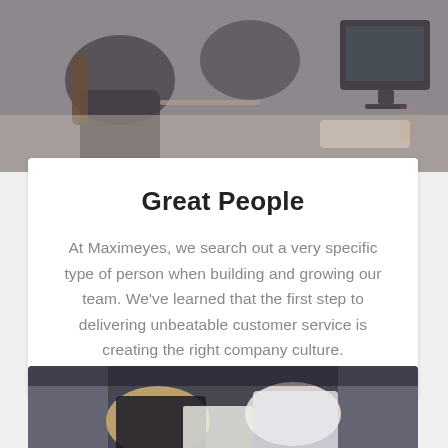[Figure (photo): Overhead view of people working at desks with computers and monitors in an office setting]
Great People
At Maximeyes, we search out a very specific type of person when building and growing our team. We've learned that the first step to delivering unbeatable customer service is creating the right company culture.
[Figure (photo): Overhead view of two people sitting across from each other at a table, appearing to be in a meeting or discussion]